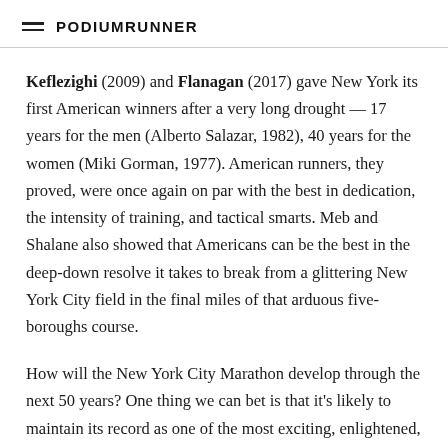PodiumRunner
Keflezighi (2009) and Flanagan (2017) gave New York its first American winners after a very long drought — 17 years for the men (Alberto Salazar, 1982), 40 years for the women (Miki Gorman, 1977). American runners, they proved, were once again on par with the best in dedication, the intensity of training, and tactical smarts. Meb and Shalane also showed that Americans can be the best in the deep-down resolve it takes to break from a glittering New York City field in the final miles of that arduous five-boroughs course.
How will the New York City Marathon develop through the next 50 years? One thing we can bet is that it's likely to maintain its record as one of the most exciting, enlightened, and groundbreaking events in the world.